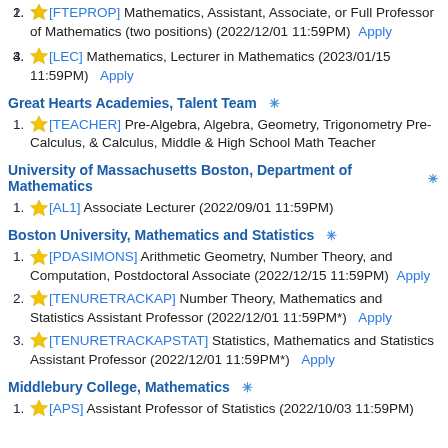[FTEPROP] Mathematics, Assistant, Associate, or Full Professor of Mathematics (two positions) (2022/12/01 11:59PM) Apply
[LEC] Mathematics, Lecturer in Mathematics (2023/01/15 11:59PM) Apply
Great Hearts Academies, Talent Team
[TEACHER] Pre-Algebra, Algebra, Geometry, Trigonometry Pre-Calculus, & Calculus, Middle & High School Math Teacher
University of Massachusetts Boston, Department of Mathematics
[AL1] Associate Lecturer (2022/09/01 11:59PM)
Boston University, Mathematics and Statistics
[PDASIMONS] Arithmetic Geometry, Number Theory, and Computation, Postdoctoral Associate (2022/12/15 11:59PM) Apply
[TENURETRACKAP] Number Theory, Mathematics and Statistics Assistant Professor (2022/12/01 11:59PM*) Apply
[TENURETRACKAPSTAT] Statistics, Mathematics and Statistics Assistant Professor (2022/12/01 11:59PM*) Apply
Middlebury College, Mathematics
[APS] Assistant Professor of Statistics (2022/10/03 11:59PM)